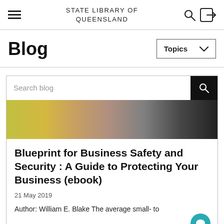STATE LIBRARY OF QUEENSLAND
Blog
Topics
[Figure (screenshot): Search blog input field with black search button, and a blurred photo of people below it]
Blueprint for Business Safety and Security : A Guide to Protecting Your Business (ebook)
21 May 2019
Author: William E. Blake The average small- to